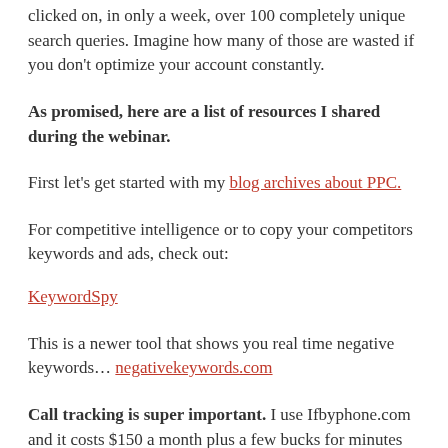clicked on, in only a week, over 100 completely unique search queries. Imagine how many of those are wasted if you don't optimize your account constantly.
As promised, here are a list of resources I shared during the webinar.
First let's get started with my blog archives about PPC.
For competitive intelligence or to copy your competitors keywords and ads, check out:
KeywordSpy
This is a newer tool that shows you real time negative keywords… negativekeywords.com
Call tracking is super important. I use Ifbyphone.com and it costs $150 a month plus a few bucks for minutes and unique phone numbers (about 20-30 dollars a month more.)